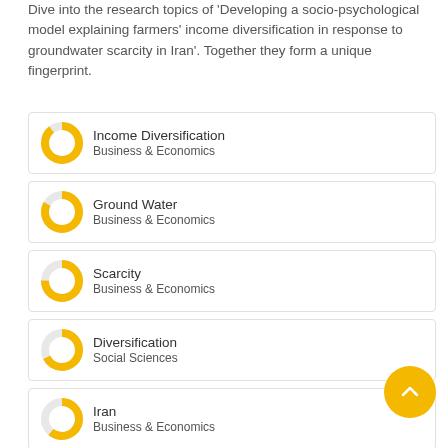Dive into the research topics of 'Developing a socio-psychological model explaining farmers' income diversification in response to groundwater scarcity in Iran'. Together they form a unique fingerprint.
Income Diversification — Business & Economics
Ground Water — Business & Economics
Scarcity — Business & Economics
Diversification — Social Sciences
Iran — Business & Economics